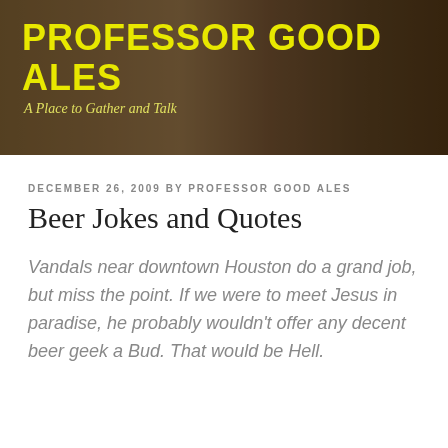[Figure (photo): Header banner with dark warm-toned photo of beer glasses on a table, overlaid with the site title and subtitle]
PROFESSOR GOOD ALES
A Place to Gather and Talk
DECEMBER 26, 2009 BY PROFESSOR GOOD ALES
Beer Jokes and Quotes
Vandals near downtown Houston do a grand job, but miss the point. If we were to meet Jesus in paradise, he probably wouldn't offer any decent beer geek a Bud. That would be Hell.